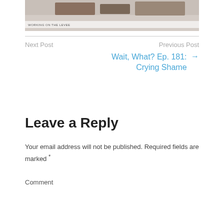[Figure (photo): Partial image at top of page showing people working, with caption 'WORKING ON THE LEVEE']
Next Post
Previous Post
Wait, What? Ep. 181: Crying Shame →
Leave a Reply
Your email address will not be published. Required fields are marked *
Comment